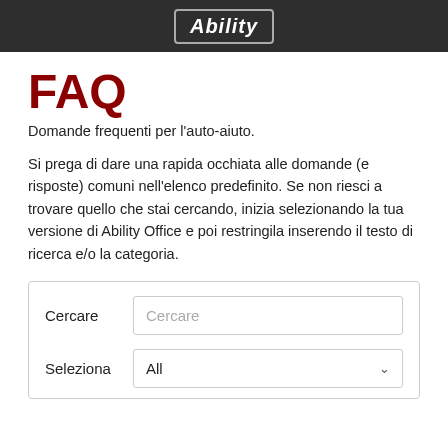Ability
FAQ
Domande frequenti per l'auto-aiuto.
Si prega di dare una rapida occhiata alle domande (e risposte) comuni nell'elenco predefinito. Se non riesci a trovare quello che stai cercando, inizia selezionando la tua versione di Ability Office e poi restringila inserendo il testo di ricerca e/o la categoria.
[Figure (screenshot): Search form with a text input labeled 'Cercare' and a dropdown labeled 'Seleziona' with value 'All']